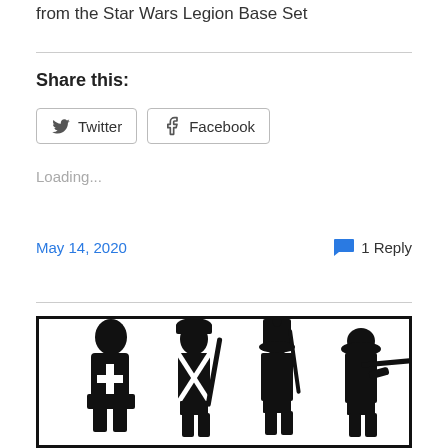from the Star Wars Legion Base Set
Share this:
Twitter  Facebook
Loading...
May 14, 2020   1 Reply
[Figure (illustration): Silhouette illustration of four soldiers from different historical eras: a medieval crusader knight with a cross on his armor, a Napoleonic-era soldier with a musket, a 19th century soldier in a tall shako hat, and a World War I/II era soldier with a rifle. All depicted as black silhouettes inside a black-bordered rectangle.]